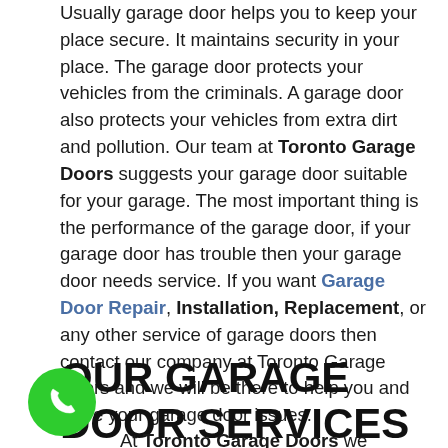Usually garage door helps you to keep your place secure. It maintains security in your place. The garage door protects your vehicles from the criminals. A garage door also protects your vehicles from extra dirt and pollution. Our team at Toronto Garage Doors suggests your garage door suitable for your garage. The most important thing is the performance of the garage door, if your garage door has trouble then your garage door needs service. If you want Garage Door Repair, Installation, Replacement, or any other service of garage doors then contact our company at Toronto Garage Doors and we will be there to help you and solve your garage door issues.
OUR GARAGE DOOR SERVICES IN BALSAM
At Toronto Garage Doors we provide following